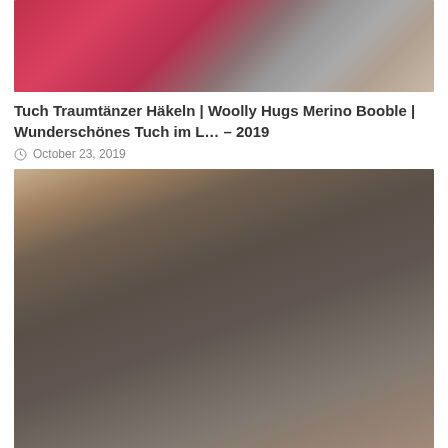[Figure (photo): Close-up of crocheted shawl/tuch in red/pink and grey colors]
Tuch Traumtänzer Häkeln | Woolly Hugs Merino Booble | Wunderschönes Tuch im L… – 2019
October 23, 2019
[Figure (photo): Close-up of a knitted dark brown/taupe triangular shawl draped on a mannequin]
HIER  nun die anleitung zum tuch aus dem suuuupergarn von Pascuali – 2019
October 23, 2019
[Figure (photo): Partial view of a pink/purple knitted shawl]